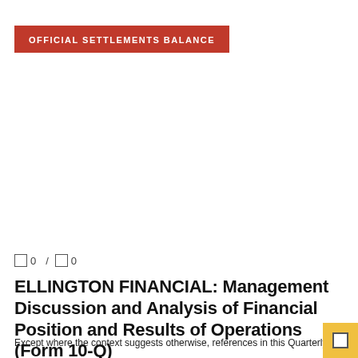OFFICIAL SETTLEMENTS BALANCE
0 / 0
ELLINGTON FINANCIAL: Management Discussion and Analysis of Financial Position and Results of Operations (Form 10-Q)
Except where the context suggests otherwise, references in this Quarterly